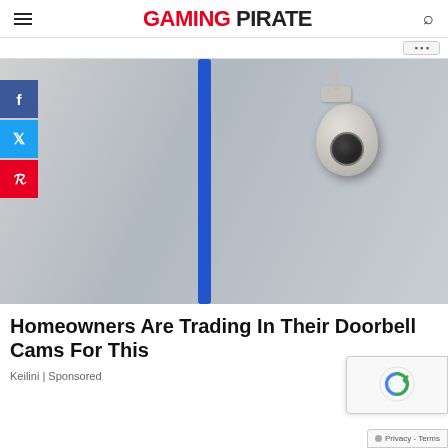GAMING PIRATE
[Figure (photo): Hero image showing a security camera mounted on a wall next to a blue cable, with a smaller inset showing an indoor camera scene on the left side. Social media buttons (Facebook, Twitter, Pinterest) are on the left side.]
Homeowners Are Trading In Their Doorbell Cams For This
Keilini | Sponsored